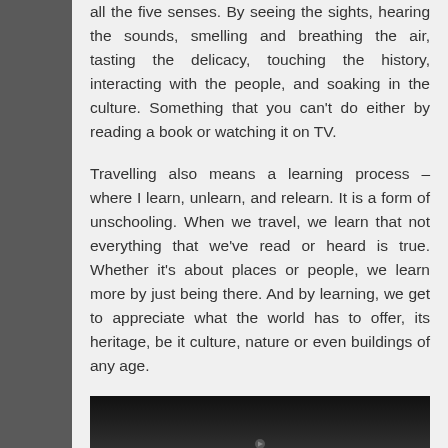all the five senses. By seeing the sights, hearing the sounds, smelling and breathing the air, tasting the delicacy, touching the history, interacting with the people, and soaking in the culture. Something that you can't do either by reading a book or watching it on TV.
Travelling also means a learning process – where I learn, unlearn, and relearn. It is a form of unschooling. When we travel, we learn that not everything that we've read or heard is true. Whether it's about places or people, we learn more by just being there. And by learning, we get to appreciate what the world has to offer, its heritage, be it culture, nature or even buildings of any age.
[Figure (photo): A dark/black image at the bottom of the page, appearing to be a video thumbnail or embedded media.]